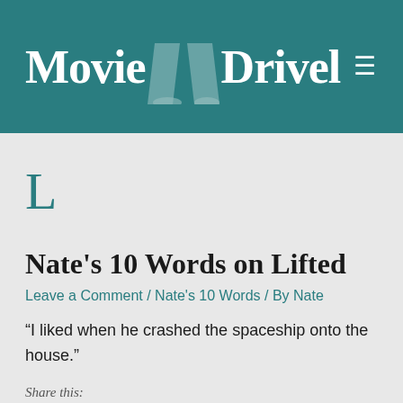Movie Drivel
L
Nate's 10 Words on Lifted
Leave a Comment / Nate's 10 Words / By Nate
“I liked when he crashed the spaceship onto the house.”
Share this: